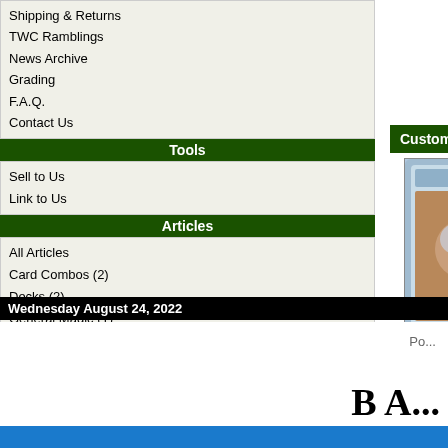Shipping & Returns
TWC Ramblings
News Archive
Grading
F.A.Q.
Contact Us
Tools
Sell to Us
Link to Us
Articles
All Articles
Card Combos (2)
Decks (2)
General Magic (1)
Articles by Author
Please Select
Promotion
Something special this way comes!
[Figure (logo): Authorize.Net Verified Merchant badge with Credit Card Services text]
Customers who bought this product also purchased...
[Figure (illustration): Daze - Nemesis Magic card]
Daze - Nemesis
[Figure (illustration): Compulsive Research - Ravnica Magic card]
Compulsive Research - Ravnica
[Figure (illustration): Mome... Ti... Magic card (partially visible)]
Mome... Ti...
Wednesday August 24, 2022
Po...
B A...